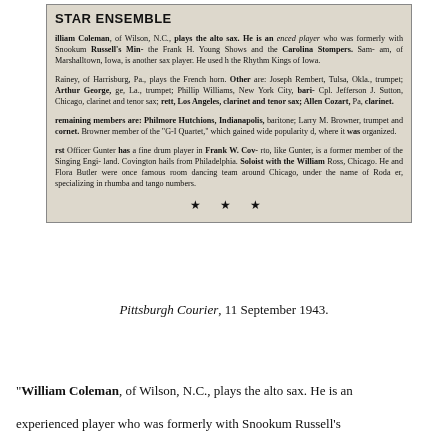STAR ENSEMBLE
William Coleman, of Wilson, N.C., plays the alto sax. He is an experienced player who was formerly with Snookum Russell's Min- the Frank H. Young Shows and the Carolina Stompers. Sam- am, of Marshalltown, Iowa, is another sax player. He used h the Rhythm Kings of Iowa. Rainey, of Harrisburg, Pa., plays the French horn. Other are: Joseph Rembert, Tulsa, Okla., trumpet; Arthur George, ge, La., trumpet; Phillip Williams, New York City, bari- Cpl. Jefferson J. Sutton, Chicago, clarinet and tenor sax; rett, Los Angeles, clarinet and tenor sax; Allen Cozart, Pa. clarinet. remaining members are: Philmore Hutchions, Indianapolis, baritone; Larry M. Browner, trumpet and cornet. Browner member of the "G-I Quartet," which gained wide popularity d, where it was organized. rst Officer Gunter has a fine drum player in Frank W. Cov- rto, like Gunter, is a former member of the Singing Engi- land. Covington hails from Philadelphia. Soloist with the William Ross, Chicago. He and Flora Butler were once famous room dancing team around Chicago, under the name of Roda er, specializing in rhumba and tango numbers.
Pittsburgh Courier, 11 September 1943.
"William Coleman, of Wilson, N.C., plays the alto sax. He is an experienced player who was formerly with Snookum Russell's